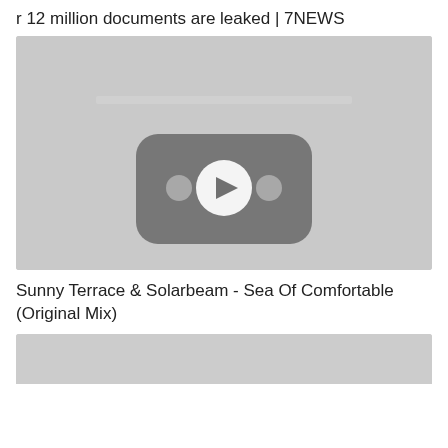r 12 million documents are leaked | 7NEWS
[Figure (screenshot): Video thumbnail placeholder showing a YouTube-style play button icon on a grey background]
Sunny Terrace & Solarbeam - Sea Of Comfortable (Original Mix)
[Figure (screenshot): Partial video thumbnail at the bottom of the page, grey background, partially cropped]